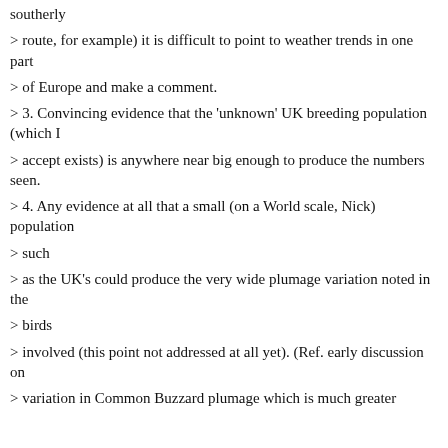southerly
> route, for example) it is difficult to point to weather trends in one part
> of Europe and make a comment.
> 3. Convincing evidence that the 'unknown' UK breeding population (which I
> accept exists) is anywhere near big enough to produce the numbers seen.
> 4. Any evidence at all that a small (on a World scale, Nick) population
> such
> as the UK's could produce the very wide plumage variation noted in the
> birds
> involved (this point not addressed at all yet). (Ref. early discussion on
> variation in Common Buzzard plumage which is much greater